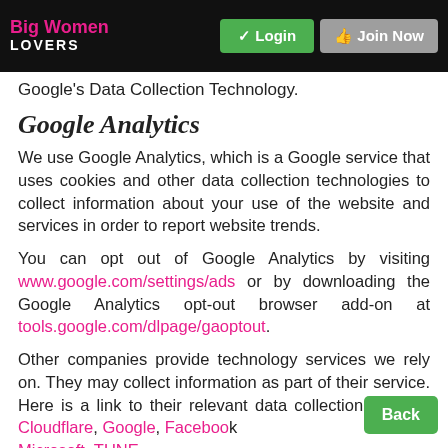Big Women LOVERS | Login | Join Now
Google's Data Collection Technology.
Google Analytics
We use Google Analytics, which is a Google service that uses cookies and other data collection technologies to collect information about your use of the website and services in order to report website trends.
You can opt out of Google Analytics by visiting www.google.com/settings/ads or by downloading the Google Analytics opt-out browser add-on at tools.google.com/dlpage/gaoptout.
Other companies provide technology services we rely on. They may collect information as part of their service. Here is a link to their relevant data collection policies: Cloudflare, Google, Facebook, Microsoft, TUNE